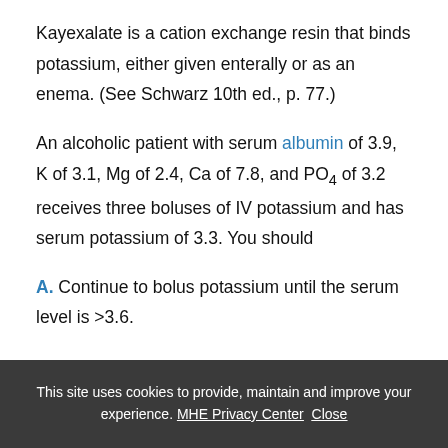Kayexalate is a cation exchange resin that binds potassium, either given enterally or as an enema. (See Schwarz 10th ed., p. 77.)
An alcoholic patient with serum albumin of 3.9, K of 3.1, Mg of 2.4, Ca of 7.8, and PO4 of 3.2 receives three boluses of IV potassium and has serum potassium of 3.3. You should
A. Continue to bolus potassium until the serum level is >3.6.
This site uses cookies to provide, maintain and improve your experience. MHE Privacy Center  Close